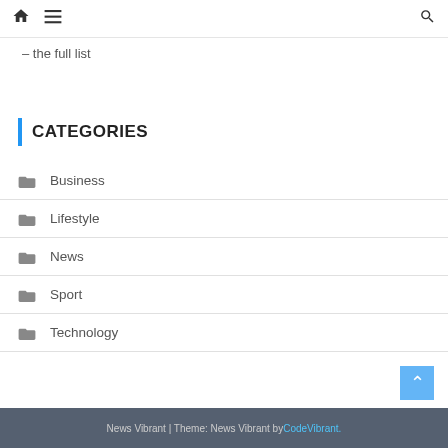🏠 ☰ 🔍
– the full list
CATEGORIES
Business
Lifestyle
News
Sport
Technology
News Vibrant | Theme: News Vibrant by CodeVibrant.